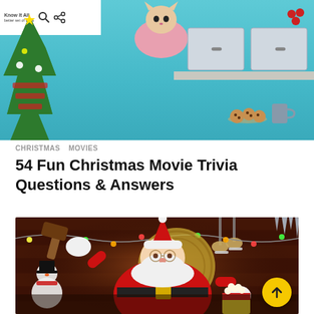[Figure (illustration): Christmas-themed illustration with cartoon Christmas tree on left, cat figure at top center, kitchen counter with cookies, teal/blue background. Overlay shows view count 1.2k, upvotes 61, shares 83.]
CHRISTMAS   MOVIES
54 Fun Christmas Movie Trivia Questions & Answers
[Figure (photo): Photo of a person dressed as Santa Claus sitting in a wicker chair in a decorated Christmas workshop setting, holding a bowl of popcorn and raising a wooden mallet/hammer. Snowman visible on left, Christmas lights, ice skates hanging in background. Scroll-to-top yellow circle button with upward arrow in bottom right corner.]